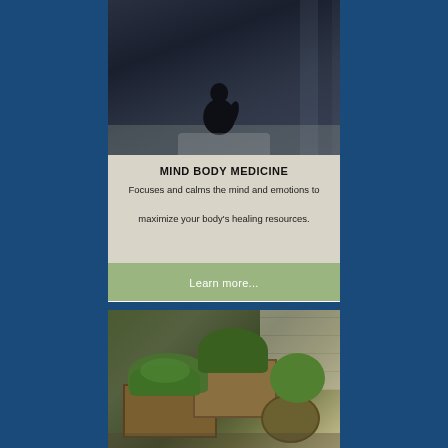[Figure (photo): Dark silhouetted figure sitting on a bed near a window in a dimly lit room]
MIND BODY MEDICINE
Focuses and calms the mind and emotions to maximize your body's healing resources.
Learn more...
[Figure (photo): Wooden planter boxes filled with green plants and herbs on a tiled outdoor surface]